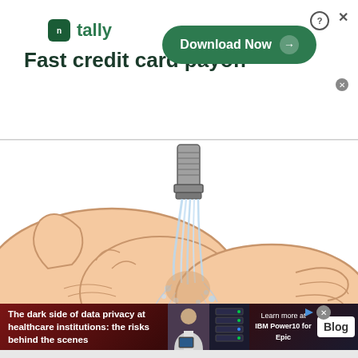[Figure (infographic): Tally app advertisement banner with logo, tagline 'Fast credit card payoff', and green Download Now button]
[Figure (illustration): Cartoon illustration of hands being washed under a running faucet, showing water splashing]
[Figure (infographic): IBM Power10 for Epic advertisement banner with text about dark side of data privacy at healthcare institutions and Blog button]